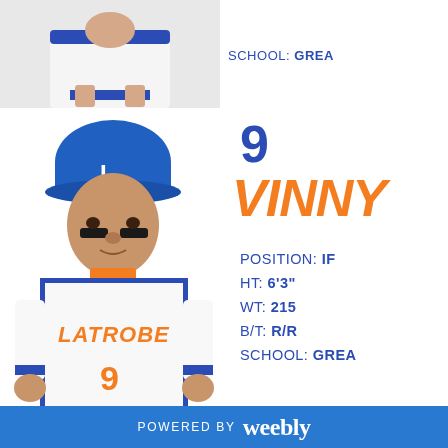[Figure (photo): Partial view of a baseball player in Latrobe uniform, top portion cropped]
SCHOOL: GREA
[Figure (photo): Baseball player wearing Latrobe #9 jersey and blue cap with L, with eye black]
9
VINNY
POSITION: IF
HT: 6'3"
WT: 215
B/T: R/R
SCHOOL: GREA
[Figure (photo): Bottom partial view of next player card]
POWERED BY weebly